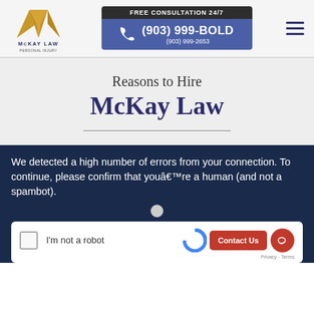[Figure (logo): McKay Law gold double-M mountain logo with text MCKAY LAW PERSONAL INJURY]
FREE CONSULTATION 24/7
(903) 999-BOLD
(903) 999-2653
Reasons to Hire
McKay Law
We detected a high number of errors from your connection. To continue, please confirm that youâ€™re a human (and not a spambot).
I'm not a robot
Contact Us
Privacy - Terms